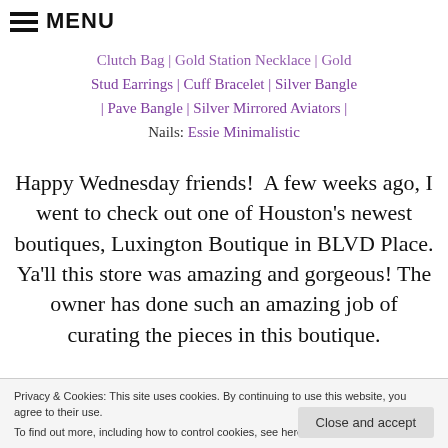MENU
Clutch Bag | Gold Station Necklace | Gold Stud Earrings | Cuff Bracelet | Silver Bangle | Pave Bangle | Silver Mirrored Aviators | Nails: Essie Minimalistic
Happy Wednesday friends! A few weeks ago, I went to check out one of Houston's newest boutiques, Luxington Boutique in BLVD Place. Ya'll this store was amazing and gorgeous! The owner has done such an amazing job of curating the pieces in this boutique.
Privacy & Cookies: This site uses cookies. By continuing to use this website, you agree to their use. To find out more, including how to control cookies, see here: Privacy Policy
love that you can go in buy a few pieces, and